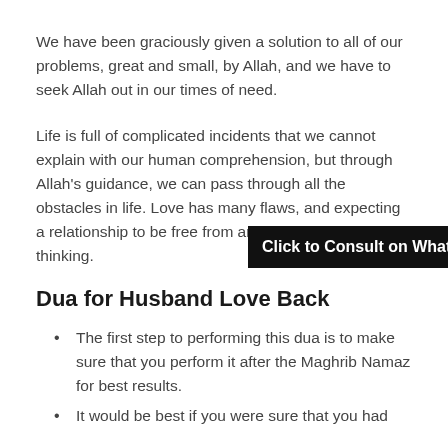We have been graciously given a solution to all of our problems, great and small, by Allah, and we have to seek Allah out in our times of need.
Life is full of complicated incidents that we cannot explain with our human comprehension, but through Allah's guidance, we can pass through all the obstacles in life. Love has many flaws, and expecting a relationship to be free from any problems is wishful thinking.
[Figure (other): Click to Consult on Whatsapp banner overlay]
Dua for Husband Love Back
The first step to performing this dua is to make sure that you perform it after the Maghrib Namaz for best results.
It would be best if you were sure that you had